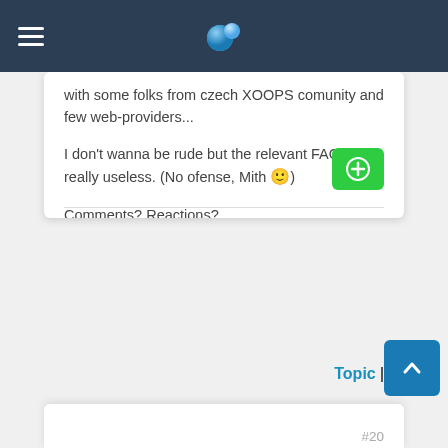XOOPS forum navigation header
with some folks from czech XOOPS comunity and few web-providers...
I don't wanna be rude but the relevant FAQ is really useless. (No ofense, Mith 🙂)
Comments? Reactions?
Topic | Forum
#20